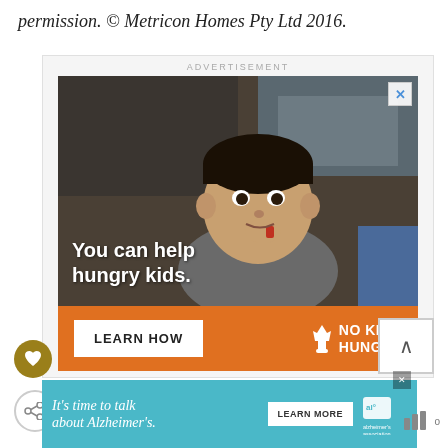permission.  © Metricon Homes Pty Ltd 2016.
[Figure (screenshot): Advertisement banner for No Kid Hungry charity showing a child eating with overlaid text 'You can help hungry kids.' and a Learn How button]
[Figure (screenshot): Advertisement banner for Alzheimer's Association with teal background, text 'It's time to talk about Alzheimer's.' and a Learn More button]